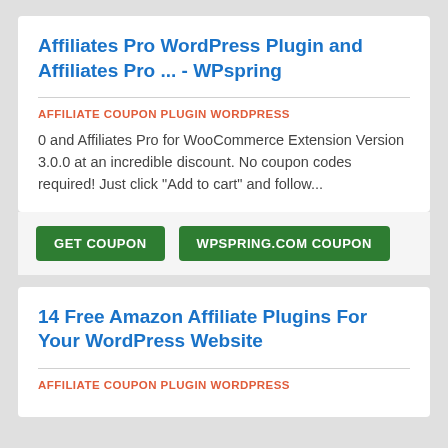Affiliates Pro WordPress Plugin and Affiliates Pro ... - WPspring
AFFILIATE COUPON PLUGIN WORDPRESS
0 and Affiliates Pro for WooCommerce Extension Version 3.0.0 at an incredible discount. No coupon codes required! Just click "Add to cart" and follow...
GET COUPON
WPSPRING.COM COUPON
14 Free Amazon Affiliate Plugins For Your WordPress Website
AFFILIATE COUPON PLUGIN WORDPRESS